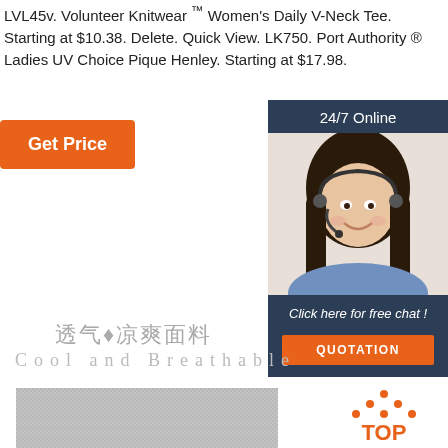LVL45v. Volunteer Knitwear ™ Women's Daily V-Neck Tee. Starting at $10.38. Delete. Quick View. LK750. Port Authority ® Ladies UV Choice Pique Henley. Starting at $17.98.
Get Price
[Figure (photo): 24/7 Online chat panel with smiling female customer service representative wearing headset, with 'Click here for free chat!' text and QUOTATION button]
透气♦凉爽面料
Cool and Breathable
[Figure (photo): Close-up of grey breathable fabric mesh texture]
[Figure (other): TOP icon with dotted triangle/pyramid shape in orange]